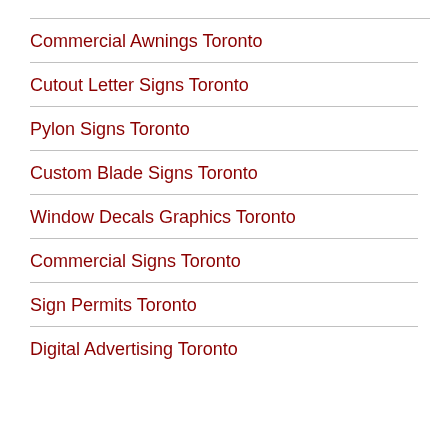Commercial Awnings Toronto
Cutout Letter Signs Toronto
Pylon Signs Toronto
Custom Blade Signs Toronto
Window Decals Graphics Toronto
Commercial Signs Toronto
Sign Permits Toronto
Digital Advertising Toronto